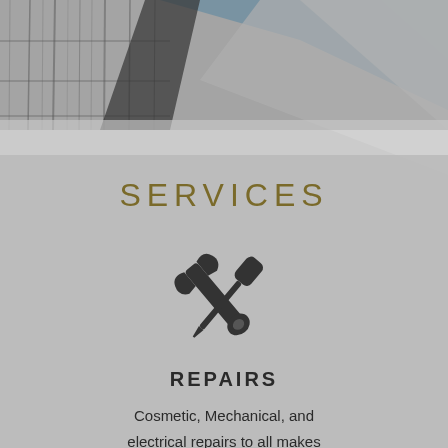[Figure (photo): Black and white barn wood siding with a blue sky and white roof trim visible, used as decorative background header image]
SERVICES
[Figure (illustration): Crossed wrench and screwdriver icon in dark grey/charcoal color representing repair services]
REPAIRS
Cosmetic, Mechanical, and electrical repairs to all makes such as Club Car, EZGO, and Yamaha.